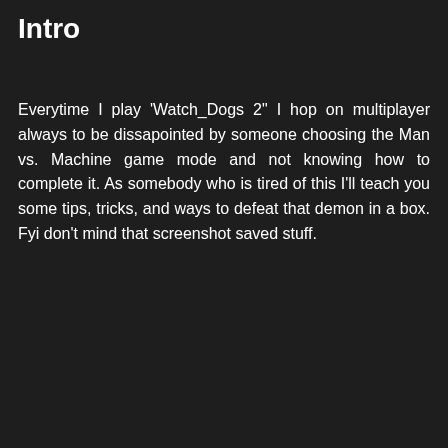Intro
Everytime I play 'Watch_Dogs 2" I hop on multiplayer always to be dissapointed by someone choosing the Man vs. Machine game mode and not knowing how to complete it. As somebody who is tired of this I'll teach you some tips, tricks, and ways to defeat that demon in a box. Fyi don't mind that screenshot saved stuff.